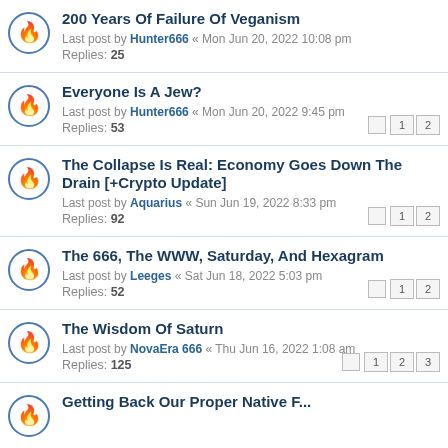200 Years Of Failure Of Veganism
Last post by Hunter666 « Mon Jun 20, 2022 10:08 pm
Replies: 25
Everyone Is A Jew?
Last post by Hunter666 « Mon Jun 20, 2022 9:45 pm
Replies: 53
The Collapse Is Real: Economy Goes Down The Drain [+Crypto Update]
Last post by Aquarius « Sun Jun 19, 2022 8:33 pm
Replies: 92
The 666, The WWW, Saturday, And Hexagram
Last post by Leeges « Sat Jun 18, 2022 5:03 pm
Replies: 52
The Wisdom Of Saturn
Last post by NovaEra 666 « Thu Jun 16, 2022 1:08 am
Replies: 125
Getting Back Our Proper Native F...